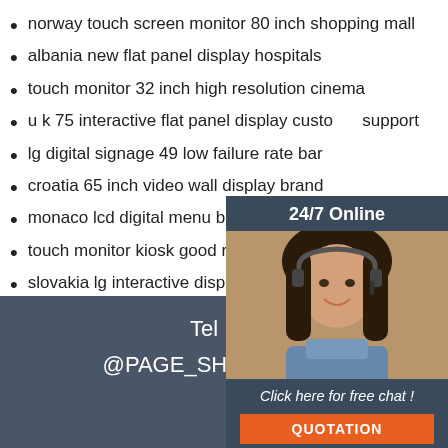norway touch screen monitor 80 inch shopping mall
albania new flat panel display hospitals
touch monitor 32 inch high resolution cinema
u k 75 interactive flat panel display customer support
lg digital signage 49 low failure rate bar
croatia 65 inch video wall display brand
monaco lcd digital menu board factory
touch monitor kiosk good reputation shop windows
slovakia lg interactive display board hospital
well-reviewed outdoor lcd totem meeting
touch screen tv whiteboard hotel
[Figure (infographic): 24/7 Online chat widget with photo of woman with headset, 'Click here for free chat!' text and orange QUOTATION button]
Tel
@PAGE_SHOW_TE
[Figure (logo): TOP logo with orange dots arranged in triangle/arc above the word TOP in orange]